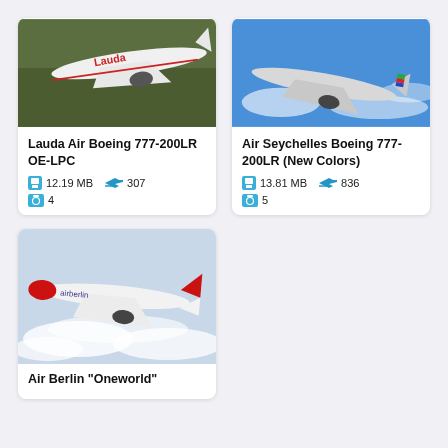[Figure (photo): Lauda Air Boeing 777-200LR OE-LPC aircraft in flight over green landscape, white livery with red Lauda logo]
Lauda Air Boeing 777-200LR OE-LPC
12.19 MB   307   4
[Figure (photo): Air Seychelles Boeing 777-200LR aircraft in flight against blue sky, silver livery with colorful tail]
Air Seychelles Boeing 777-200LR (New Colors)
13.81 MB   836   5
[Figure (photo): Air Berlin Oneworld Boeing 777 aircraft in flight above clouds, white and red livery]
Air Berlin "Oneworld"